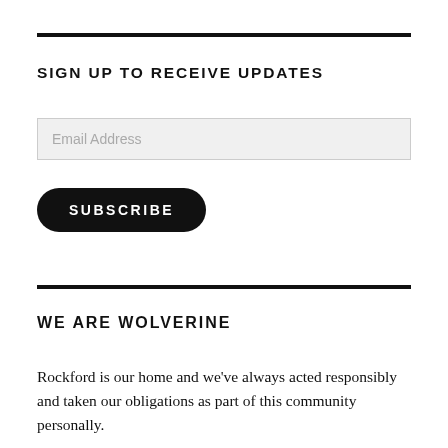SIGN UP TO RECEIVE UPDATES
[Figure (other): Email address input field (placeholder text: Email Address)]
[Figure (other): Subscribe button (black rounded rectangle with white text: SUBSCRIBE)]
WE ARE WOLVERINE
Rockford is our home and we've always acted responsibly and taken our obligations as part of this community personally.